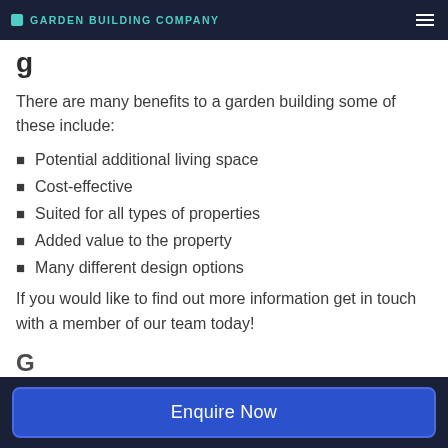GARDEN BUILDING COMPANY
g...
There are many benefits to a garden building some of these include:
Potential additional living space
Cost-effective
Suited for all types of properties
Added value to the property
Many different design options
If you would like to find out more information get in touch with a member of our team today!
Enquire Now